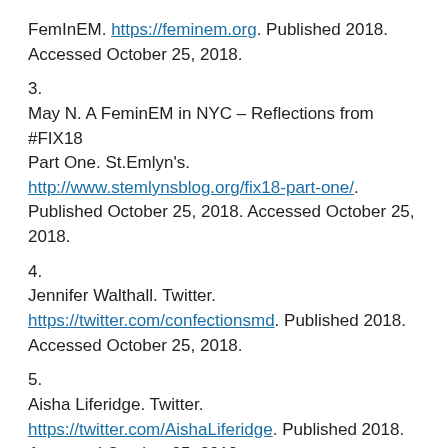FemInEM. https://feminem.org. Published 2018. Accessed October 25, 2018.
3. May N. A FeminEM in NYC – Reflections from #FIX18 Part One. St.Emlyn's. http://www.stemlynsblog.org/fix18-part-one/ . Published October 25, 2018. Accessed October 25, 2018.
4. Jennifer Walthall. Twitter. https://twitter.com/confectionsmd. Published 2018. Accessed October 25, 2018.
5. Aisha Liferidge. Twitter. https://twitter.com/AishaLiferidge. Published 2018. Accessed October 25, 2018.
6.